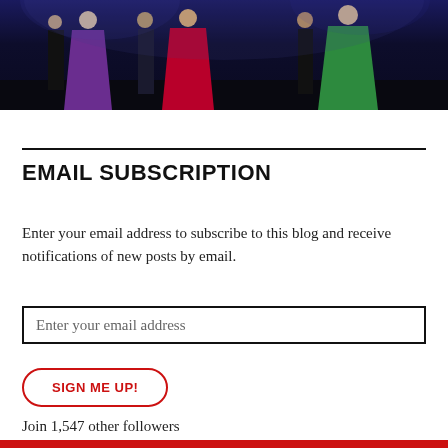[Figure (photo): Photo of performers on stage wearing colorful gowns (purple, red, green) against a dark blue stage background]
EMAIL SUBSCRIPTION
Enter your email address to subscribe to this blog and receive notifications of new posts by email.
Enter your email address
SIGN ME UP!
Join 1,547 other followers